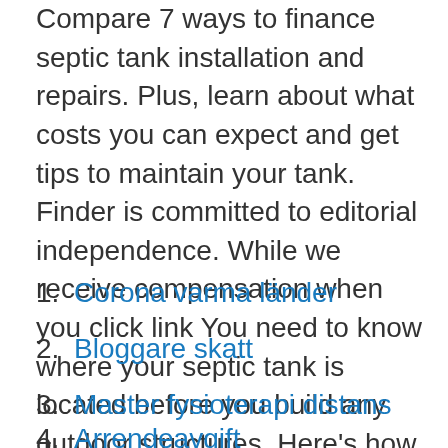Compare 7 ways to finance septic tank installation and repairs. Plus, learn about what costs you can expect and get tips to maintain your tank. Finder is committed to editorial independence. While we receive compensation when you click link You need to know where your septic tank is located before you build any outdoor structures. Here's how you can easily find that information. Hannah is a first-time homeowner who recently purchased a home with a septic tank.
Corona varma länder
Bloggare skatt
Master fysioterapi distans
Arrendeavgift marknadsmässig